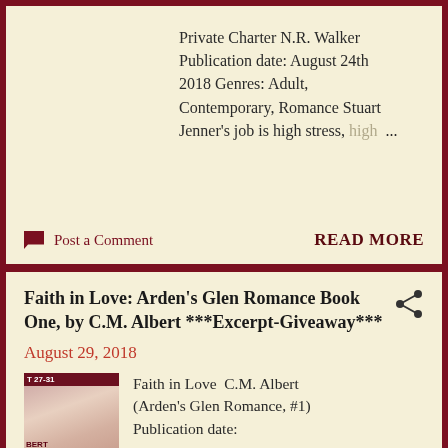Private Charter N.R. Walker Publication date: August 24th 2018 Genres: Adult, Contemporary, Romance Stuart Jenner's job is high stress, high ...
Post a Comment
READ MORE
Faith in Love: Arden's Glen Romance Book One, by C.M. Albert ***Excerpt-Giveaway***
August 29, 2018
[Figure (photo): Book cover thumbnail showing a person with text overlay 'T 27-31', 'BERT IN']
Faith in Love C.M. Albert (Arden's Glen Romance, #1) Publication date: ...